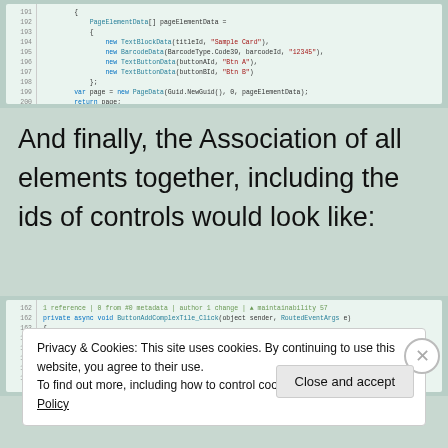[Figure (screenshot): Code editor screenshot showing C# code lines 191-207 with PageElementData array initialization including TextBlockData, BarcodeData, TextButtonData elements and PageData creation]
And finally, the Association of all elements together, including the ids of controls would look like:
[Figure (screenshot): Code editor screenshot showing C# code lines 162-168 with private async void ButtonAddComplexTile_Click method, declaring short variables titleId=1, barcodeId=2, panelButtonsId=3, buttonAId=4, buttonBId=5]
Privacy & Cookies: This site uses cookies. By continuing to use this website, you agree to their use.
To find out more, including how to control cookies, see here: Cookie Policy